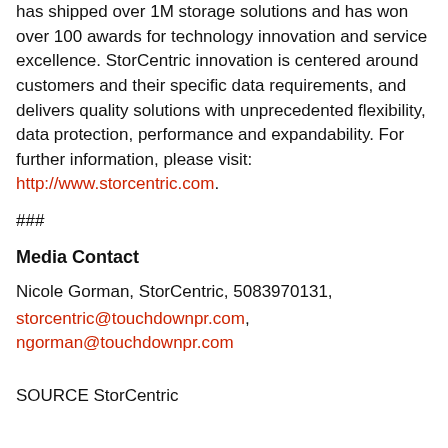has shipped over 1M storage solutions and has won over 100 awards for technology innovation and service excellence. StorCentric innovation is centered around customers and their specific data requirements, and delivers quality solutions with unprecedented flexibility, data protection, performance and expandability. For further information, please visit: http://www.storcentric.com.
###
Media Contact
Nicole Gorman, StorCentric, 5083970131,
storcentric@touchdownpr.com, ngorman@touchdownpr.com
SOURCE StorCentric